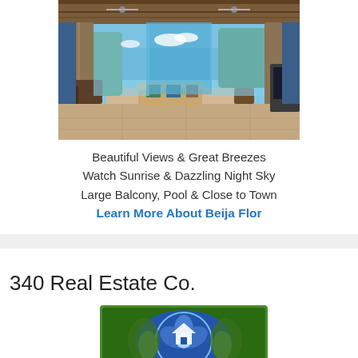[Figure (photo): Interior photo of a tropical villa/home with open-air living room, rattan furniture, stone columns, and panoramic ocean and beach views through large openings]
Beautiful Views & Great Breezes
Watch Sunrise & Dazzling Night Sky
Large Balcony, Pool & Close to Town
Learn More About Beija Flor
340 Real Estate Co.
[Figure (logo): 340 Real Estate Co. logo with blue and green circular design with floral/tropical motif]